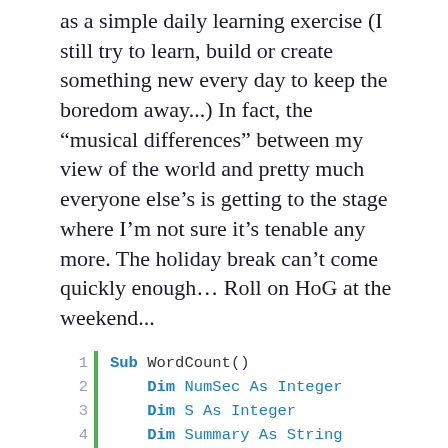as a simple daily learning exercise (I still try to learn, build or create something new every day to keep the boredom away...) In fact, the “musical differences” between my view of the world and pretty much everyone else’s is getting to the stage where I’m not sure it’s tenable any more. The holiday break can’t come quickly enough… Roll on HoG at the weekend...
[Figure (screenshot): Code block showing VBA Sub WordCount() with Dim statements for NumSec, S, Summary, SubsectionCnt, SubsectionWordCnt, SectionText As various types, with line numbers 1-9 and a green vertical bar]